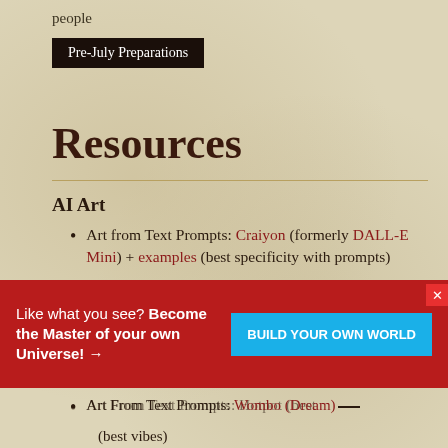people
Pre-July Preparations
Resources
AI Art
Art from Text Prompts: Craiyon (formerly DALL-E Mini) + examples (best specificity with prompts)
Adjustably-Random: Artbreeder (best landscapes)
Art From Text Prompts: Hotpot (best
Like what you see? Become the Master of your own Universe! →
BUILD YOUR OWN WORLD
Art From Text Prompts: Wombo (Dream) (best vibes)